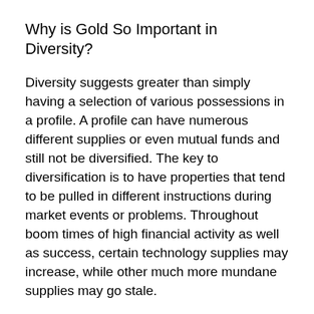Why is Gold So Important in Diversity?
Diversity suggests greater than simply having a selection of various possessions in a profile. A profile can have numerous different supplies or even mutual funds and still not be diversified. The key to diversification is to have properties that tend to be pulled in different instructions during market events or problems. Throughout boom times of high financial activity as well as success, certain technology supplies may increase, while other much more mundane supplies may go stale.
What makes gold so unique therefore needed in a diversification approach is that it has a tendency to move in the opposite